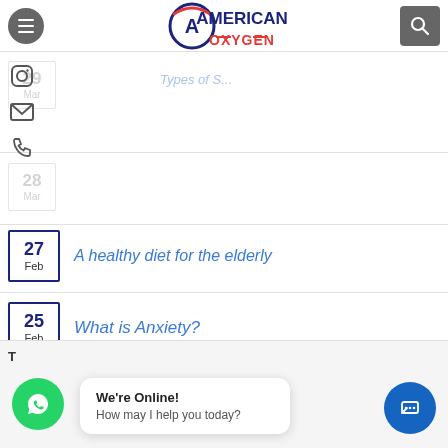[Figure (logo): American Oxygen logo with circular emblem containing letter A and American flag colors, company name in dark blue with OXYGEN in red below]
Benefits of psycho... help for cancer patients
Types of S...
A healthy diet for the elderly
What is Anxiety?
We're Online!
How may I help you today?